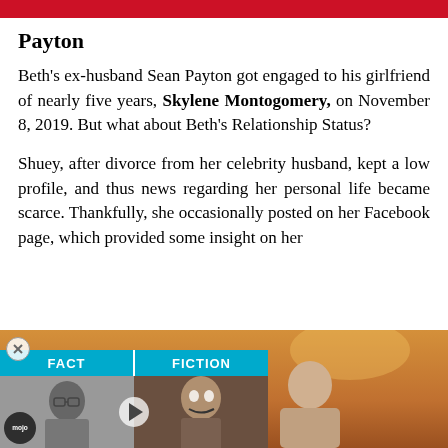Payton
Beth's ex-husband Sean Payton got engaged to his girlfriend of nearly five years, Skylene Montogomery, on November 8, 2019. But what about Beth's Relationship Status?
Shuey, after divorce from her celebrity husband, kept a low profile, and thus news regarding her personal life became scarce. Thankfully, she occasionally posted on her Facebook page, which provided some insight on her
[Figure (screenshot): Fact vs Fiction video thumbnail panel from WatchMojo with two images side by side and a play button in the center]
[Figure (photo): Photo of a man with a sunset/golden sky background]